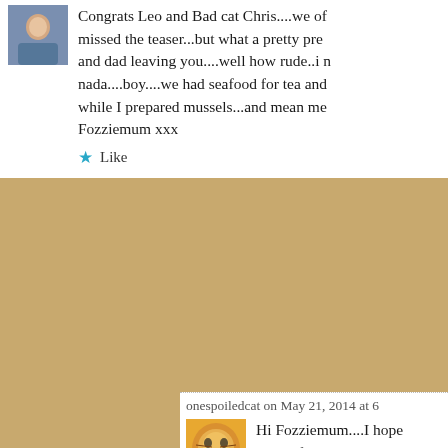[Figure (photo): Small avatar photo of a person (upper body visible), used as commenter profile picture]
Congrats Leo and Bad cat Chris....we of missed the teaser...but what a pretty pre and dad leaving you....well how rude..i n nada....boy....we had seafood for tea and while I prepared mussels...and mean me Fozziemum xxx
Like
onespoiledcat on May 21, 2014 at 6
[Figure (photo): Small avatar photo of an orange/ginger cat, used as commenter profile picture]
Hi Fozziemum....I hope you're feel nommy stuff....my Mom and Dad of stuff with me either but yesterd in the mountains and had the cha something in exchange for leavi they didn't....well.....POUT is the na

Hugs, Sammy
Like